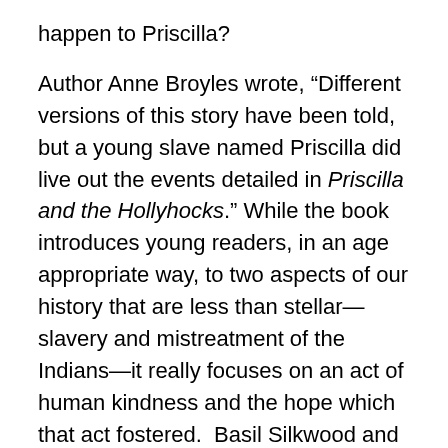happen to Priscilla?

Author Anne Broyles wrote, “Different versions of this story have been told, but a young slave named Priscilla did live out the events detailed in Priscilla and the Hollyhocks.” While the book introduces young readers, in an age appropriate way, to two aspects of our history that are less than stellar—slavery and mistreatment of the Indians—it really focuses on an act of human kindness and the hope which that act fostered.  Basil Silkwood and his wife Mariah had no children of their own but raised sixteen adopted children, including Priscilla.  Today, the home of the Silkwoods has been restored by the Mulkeytown Area Historical Society to its original exposed log structure, and is a historic site museum.  Artist Anne Alter’s appealing acrylic illustrations, with both single and double page spreads, is reminiscent of folk art.  There are also